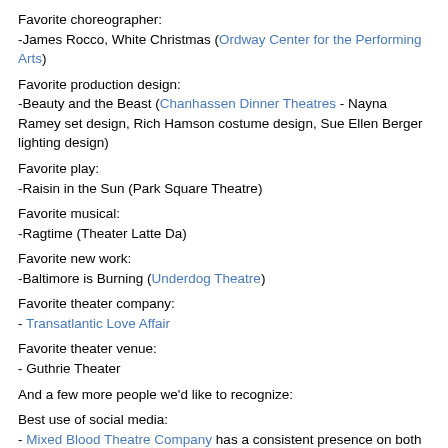Favorite choreographer:
-James Rocco, White Christmas (Ordway Center for the Performing Arts)
Favorite production design:
-Beauty and the Beast (Chanhassen Dinner Theatres - Nayna Ramey set design, Rich Hamson costume design, Sue Ellen Berger lighting design)
Favorite play:
-Raisin in the Sun (Park Square Theatre)
Favorite musical:
-Ragtime (Theater Latte Da)
Favorite new work:
-Baltimore is Burning (Underdog Theatre)
Favorite theater company:
- Transatlantic Love Affair
Favorite theater venue:
- Guthrie Theater
And a few more people we'd like to recognize:
Best use of social media:
- Mixed Blood Theatre Company has a consistent presence on both twitter and Facebook and regularly interact. Mixed Blood also creates hashtags for their shows which makes it easy to join the conversation online. They also gain information that to connect them